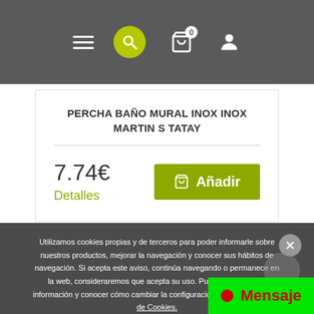Navigation bar with hamburger menu, search icon, cart (0), and user account icon
PERCHA BAÑO MURAL INOX INOX MARTIN S TATAY
7.74€
Detalles
Añadir
Utilizamos cookies propias y de terceros para poder informarle sobre nuestros productos, mejorar la navegación y conocer sus hábitos de navegación. Si acepta este aviso, continúa navegando o permanece en la web, consideraremos que acepta su uso. Puede obtener más información y conocer cómo cambiar la configuración en nuestra Política de Cookies.
Mensaje